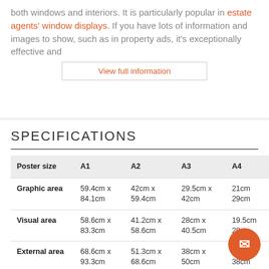both windows and interiors. It is particularly popular in estate agents' window displays. If you have lots of information and images to show, such as in property ads, it's exceptionally effective and
| Poster size | A1 | A2 | A3 | A4 |
| --- | --- | --- | --- | --- |
| Graphic area | 59.4cm x 84.1cm | 42cm x 59.4cm | 29.5cm x 42cm | 21cm x 29cm |
| Visual area | 58.6cm x 83.3cm | 41.2cm x 58.6cm | 28cm x 40.5cm | 19.5cm x 28cm |
| External area | 68.6cm x 93.3cm | 51.3cm x 68.6cm | 38cm x 50cm | 29.5cm x 38cm |
| Landscape or portrait? | Both | Both | Both | Both |
| Double sided? | Yes | Yes | Yes | Yes |